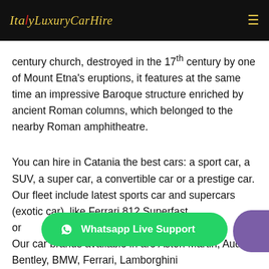Italy Luxury Car Hire
century church, destroyed in the 17th century by one of Mount Etna's eruptions, it features at the same time an impressive Baroque structure enriched by ancient Roman columns, which belonged to the nearby Roman amphitheatre.
You can hire in Catania the best cars: a sport car, a SUV, a super car, a convertible car or a prestige car. Our fleet include latest sports car and supercars (exotic car), like Ferrari 812 Superfast or ... Our car brands available in are Aston Martin, Audi, Bentley, BMW, Ferrari, Lamborghini